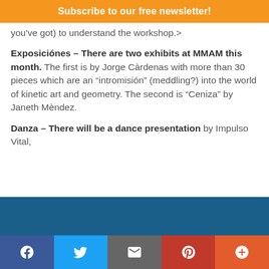Subscribe to our free newsletter!
you've got) to understand the workshop.>
Exposiciónes – There are two exhibits at MMAM this month. The first is by Jorge Càrdenas with more than 30 pieces which are an “intromisión” (meddling?) into the world of kinetic art and geometry. The second is “Ceniza” by Janeth Mèndez.
Danza – There will be a dance presentation by Impulso Vital,